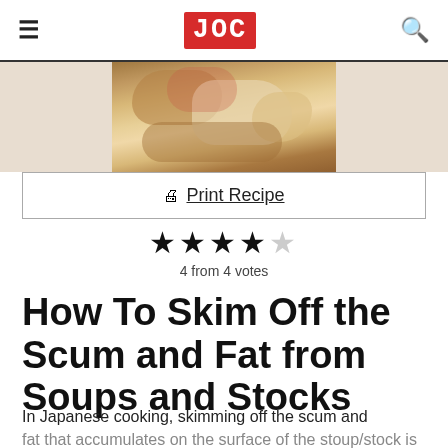JOC
[Figure (photo): Food photo showing a close-up of a Japanese dish, partially visible at top of page]
Print Recipe
4 from 4 votes
How To Skim Off the Scum and Fat from Soups and Stocks
In Japanese cooking, skimming off the scum and fat that accumulates on the surface of the stoup/stock is very important to create a nice and